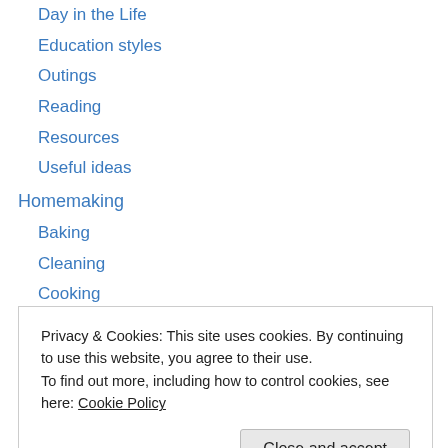Day in the Life
Education styles
Outings
Reading
Resources
Useful ideas
Homemaking
Baking
Cleaning
Cooking
Healthy living
Living on a budget
Marriage
Privacy & Cookies: This site uses cookies. By continuing to use this website, you agree to their use.
To find out more, including how to control cookies, see here: Cookie Policy
Ten things